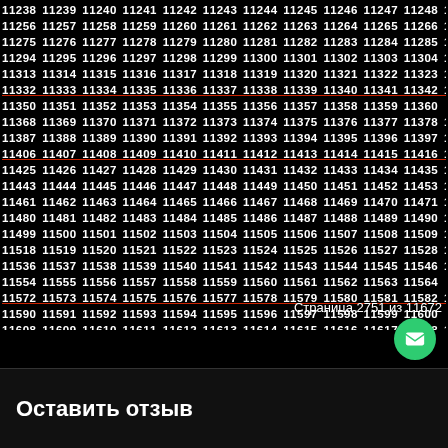11238 11239 11240 11241 11242 11243 11244 11245 11246 11247 11248 11256 11257 11258 11259 11260 11261 11262 11263 11264 11265 11266 11275 11276 11277 11278 11279 11280 11281 11282 11283 11284 11285 11294 11295 11296 11297 11298 11299 11300 11301 11302 11303 11304 11313 11314 11315 11316 11317 11318 11319 11320 11321 11322 11323 11324 11332 11333 11334 11335 11336 11337 11338 11339 11340 11341 11342 11350 11351 11352 11353 11354 11355 11356 11357 11358 11359 11360 11368 11369 11370 11371 11372 11373 11374 11375 11376 11377 11378 11379 11387 11388 11389 11390 11391 11392 11393 11394 11395 11396 11397 11406 11407 11408 11409 11410 11411 11412 11413 11414 11415 11416 11417 11425 11426 11427 11428 11429 11430 11431 11432 11433 11434 11435 11443 11444 11445 11446 11447 11448 11449 11450 11451 11452 11453 11461 11462 11463 11464 11465 11466 11467 11468 11469 11470 11471 11480 11481 11482 11483 11484 11485 11486 11487 11488 11489 11490 11499 11500 11501 11502 11503 11504 11505 11506 11507 11508 11509 11518 11519 11520 11521 11522 11523 11524 11525 11526 11527 11528 11536 11537 11538 11539 11540 11541 11542 11543 11544 11545 11546 11554 11555 11556 11557 11558 11559 11560 11561 11562 11563 11564 11572 11573 11574 11575 11576 11577 11578 11579 11580 11581 11582 11590 11591 11592 11593 11594 11595 11596 11597 11598 11599 11600 11608 11609 11610 11611 11612 11613 11614 11615 11616 11617 11618 11619 11627 11628 11629 11630 11631 11632 11633 11634 11635 11636 11637 11638 11646 11647 11648 11649 11650 11651 11652 11653 11654 11655 11656 11664 11665 11666 11667 11668 11669 11670 11671 11672
Страница 2751 из 11672
Оставить отзыв